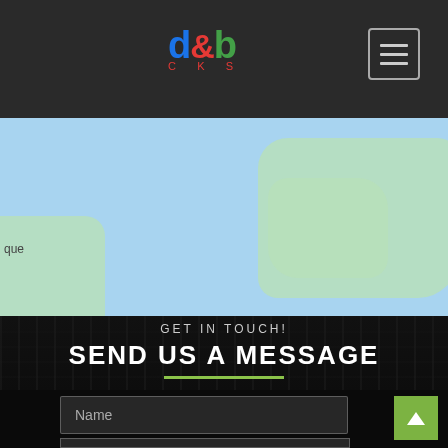dtb [logo] with hamburger menu icon
[Figure (map): Partial map view showing blue water background and green land masses, with partial text 'que' visible at lower left]
GET IN TOUCH!
SEND US A MESSAGE
Name [input field placeholder]